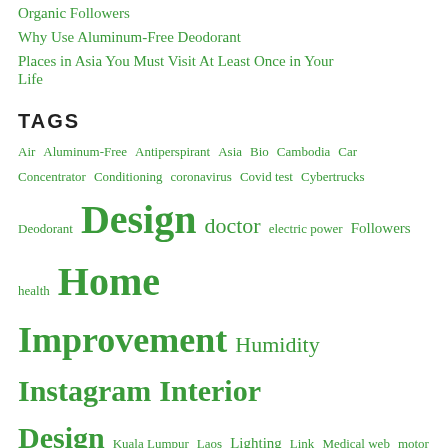Organic Followers
Why Use Aluminum-Free Deodorant
Places in Asia You Must Visit At Least Once in Your Life
TAGS
Air Aluminum-Free Antiperspirant Asia Bio Cambodia Car Concentrator Conditioning coronavirus Covid test Cybertrucks Deodorant Design doctor electric power Followers health Home Improvement Humidity Instagram Interior Design Kuala Lumpur Laos Lighting Link Medical web motor natural Oxygen photo Physical Therapy services stories Tesla Trends UNESCO Username Vaccines Ventilation Vietnam Virtual Doctor virus Visits website